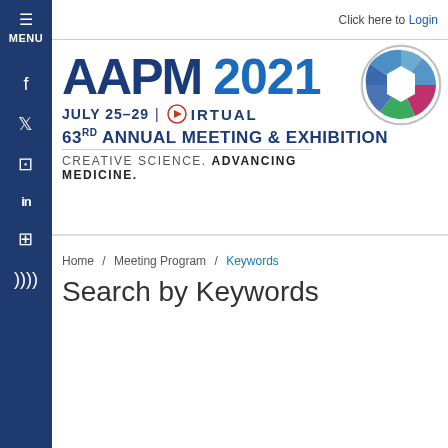Click here to Login
[Figure (logo): AAPM 2021 Virtual 63rd Annual Meeting & Exhibition logo with hexagon camera aperture icon. Text: AAPM 2021, JULY 25-29 | VIRTUAL, 63RD ANNUAL MEETING & EXHIBITION, CREATIVE SCIENCE. ADVANCING MEDICINE.]
Home / Meeting Program / Keywords
Search by Keywords